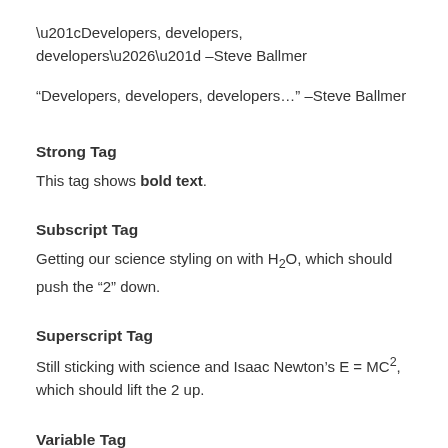“Developers, developers, developers…” –Steve Ballmer
Strong Tag
This tag shows bold text.
Subscript Tag
Getting our science styling on with H₂O, which should push the “2” down.
Superscript Tag
Still sticking with science and Isaac Newton’s E = MC², which should lift the 2 up.
Variable Tag
This allows you to denote variables.